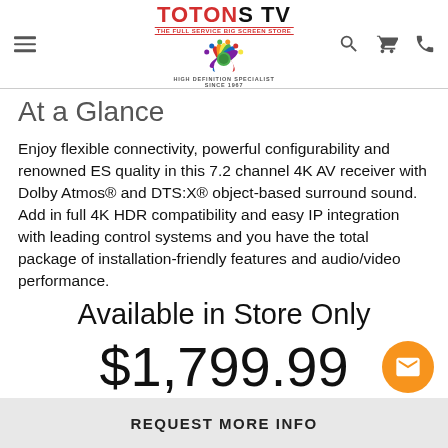[Figure (logo): TOTONS TV logo with peacock icon and High Definition Specialist Since 1967 tagline]
At a Glance
Enjoy flexible connectivity, powerful configurability and renowned ES quality in this 7.2 channel 4K AV receiver with Dolby Atmos® and DTS:X® object-based surround sound. Add in full 4K HDR compatibility and easy IP integration with leading control systems and you have the total package of installation-friendly features and audio/video performance.
Available in Store Only
$1,799.99
REQUEST MORE INFO